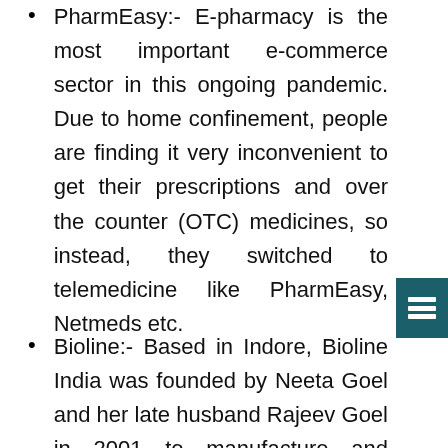PharmEasy:- E-pharmacy is the most important e-commerce sector in this ongoing pandemic. Due to home confinement, people are finding it very inconvenient to get their prescriptions and over the counter (OTC) medicines, so instead, they switched to telemedicine like PharmEasy, Netmeds etc.
Bioline:- Based in Indore, Bioline India was founded by Neeta Goel and her late husband Rajeev Goel in 2001 to manufacture and supply affordable medical equipment to the masses. During COVID-19, the demand